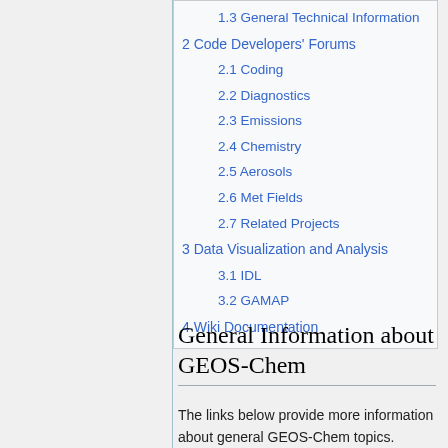1.3 General Technical Information
2 Code Developers' Forums
2.1 Coding
2.2 Diagnostics
2.3 Emissions
2.4 Chemistry
2.5 Aerosols
2.6 Met Fields
2.7 Related Projects
3 Data Visualization and Analysis
3.1 IDL
3.2 GAMAP
4 Wiki Documentation
General Information about GEOS-Chem
The links below provide more information about general GEOS-Chem topics.